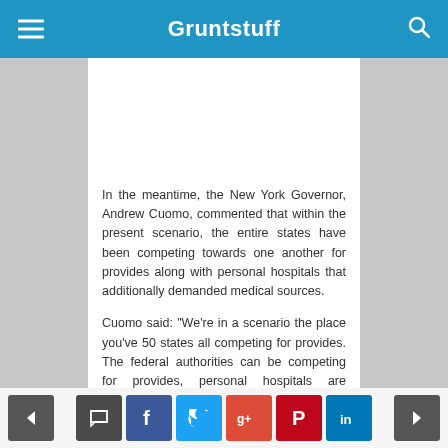Gruntstuff
In the meantime, the New York Governor, Andrew Cuomo, commented that within the present scenario, the entire states have been competing towards one another for provides along with personal hospitals that additionally demanded medical sources.
Cuomo said: “We’re in a scenario the place you’ve 50 states all competing for provides. The federal authorities can be competing for provides, personal hospitals are additionally competing for
< [comment] [f] [twitter] [g+] [pinterest] [in] >